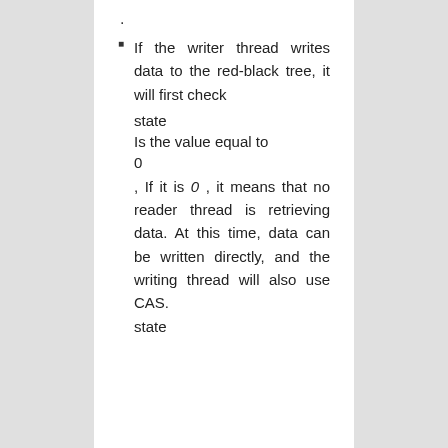.
If the writer thread writes data to the red-black tree, it will first check
state
Is the value equal to
0
, If it is 0 , it means that no reader thread is retrieving data. At this time, data can be written directly, and the writing thread will also use CAS.
state